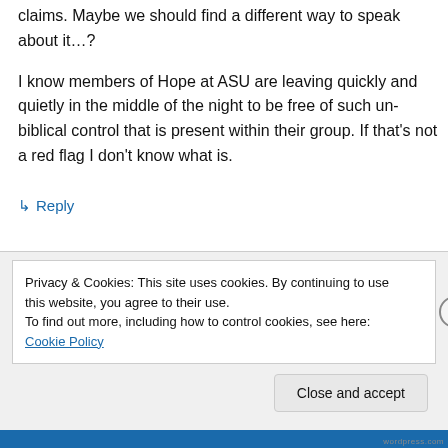claims. Maybe we should find a different way to speak about it…?
I know members of Hope at ASU are leaving quickly and quietly in the middle of the night to be free of such un-biblical control that is present within their group. If that's not a red flag I don't know what is.
↳ Reply
Privacy & Cookies: This site uses cookies. By continuing to use this website, you agree to their use.
To find out more, including how to control cookies, see here: Cookie Policy
Close and accept